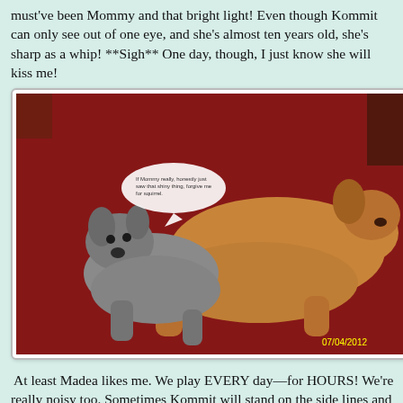must've been Mommy and that bright light! Even though Kommit can only see out of one eye, and she's almost ten years old, she's sharp as a whip! **Sigh** One day, though, I just know she will kiss me!
[Figure (photo): Two dogs lying together on a red carpet, one smaller gray dog and one larger tan/brown dog. A small speech bubble appears near the smaller dog. Timestamp reads 07/04/2012.]
At least Madea likes me. We play EVERY day—for HOURS! We're really noisy too. Sometimes Kommit will stand on the side lines and bark at us, and Mommy gets a little upset. Those days she LOCKS Kommit in Austin's room and puts Madea in the game room—she doesn't know how to open doors like Kommit. (I like when Kommit opens doors, I can sneak into the bedrooms.)
But anyway, back to separating us. Mommy said we're like having three little kids that need time-outs. I don't like when she puts Madea and Kommit away. I get lonely, then I have to chew on her, so I follow her around—VERY close to her feet and there have been times she almost fell! She said, Berra, don't do that, I might